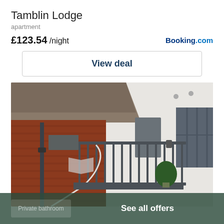Tamblin Lodge
apartment
£123.54 /night
[Figure (logo): Booking.com logo]
View deal
[Figure (photo): Exterior photo of Tamblin Lodge showing a curved spiral staircase with dark metal railings, a white rendered building with grey door and windows, a red brick outbuilding, and a potted topiary plant on the balcony.]
Private Bathroom
See all offers